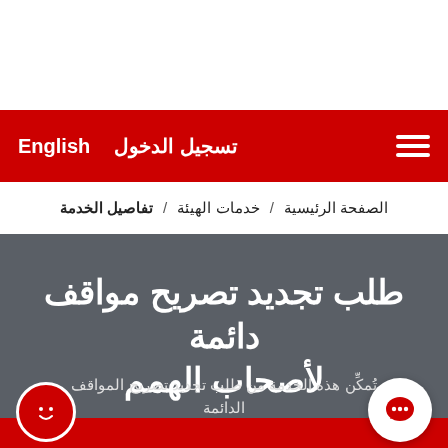تسجيل الدخول  English
الصفحة الرئيسية / خدمات الهيئة / تفاصيل الخدمة
طلب تجديد تصريح مواقف دائمة لأصحاب الهمم
تُمكِّن هذه الخدمة من طلب تجديد تصريح المواقف الدائمة لأصحاب الهمم.